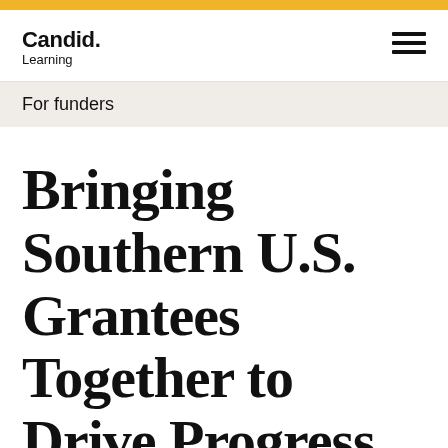Candid. Learning
For funders
Bringing Southern U.S. Grantees Together to Drive Progress Against HIV/AIDS